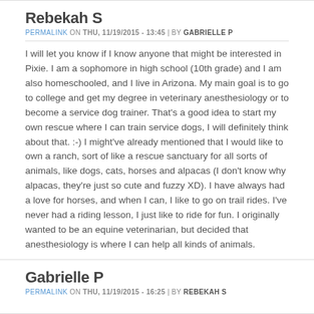Rebekah S
PERMALINK ON THU, 11/19/2015 - 13:45 | BY GABRIELLE P
I will let you know if I know anyone that might be interested in Pixie. I am a sophomore in high school (10th grade) and I am also homeschooled, and I live in Arizona. My main goal is to go to college and get my degree in veterinary anesthesiology or to become a service dog trainer. That's a good idea to start my own rescue where I can train service dogs, I will definitely think about that. :-) I might've already mentioned that I would like to own a ranch, sort of like a rescue sanctuary for all sorts of animals, like dogs, cats, horses and alpacas (I don't know why alpacas, they're just so cute and fuzzy XD). I have always had a love for horses, and when I can, I like to go on trail rides. I've never had a riding lesson, I just like to ride for fun. I originally wanted to be an equine veterinarian, but decided that anesthesiology is where I can help all kinds of animals.
Gabrielle P
PERMALINK ON THU, 11/19/2015 - 16:25 | BY REBEKAH S